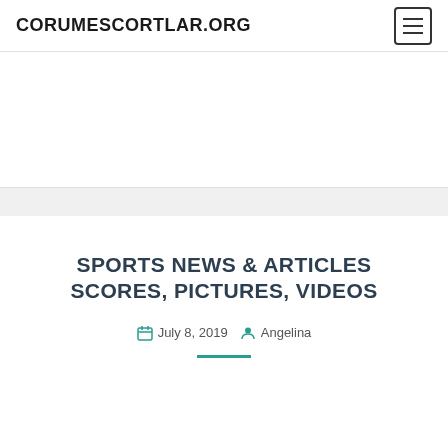CORUMESCORTLAR.ORG
[Figure (other): Advertisement block / empty white banner area]
SPORTS NEWS & ARTICLES SCORES, PICTURES, VIDEOS
July 8, 2019  Angelina
[Figure (other): Empty white content area below article header]